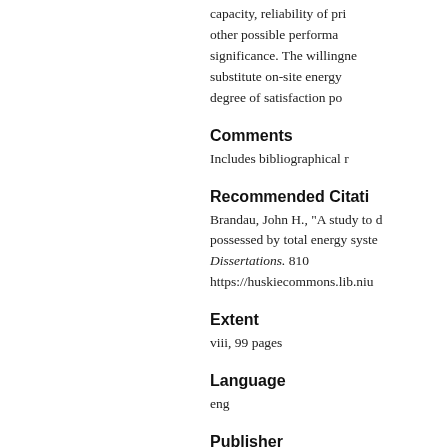capacity, reliability of pri... other possible performa... significance. The willingne... substitute on-site energy... degree of satisfaction po...
Comments
Includes bibliographical r...
Recommended Citati...
Brandau, John H., "A study to d... possessed by total energy syste... Dissertations. 810 https://huskiecommons.lib.niu...
Extent
viii, 99 pages
Language
eng
Publisher
Northern Illinois University
Rights Statement
In Copyright